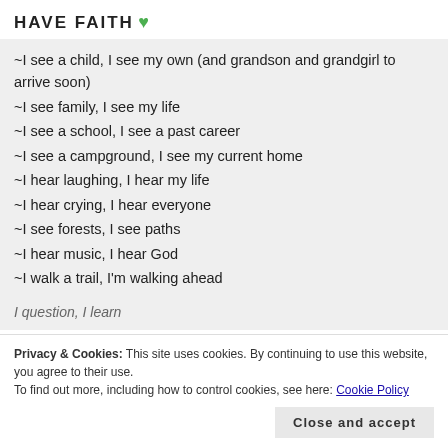HAVE FAITH 💚
~I see a child, I see my own (and grandson and grandgirl to arrive soon)
~I see family, I see my life
~I see a school, I see a past career
~I see a campground, I see my current home
~I hear laughing, I hear my life
~I hear crying, I hear everyone
~I see forests, I see paths
~I hear music, I hear God
~I walk a trail, I'm walking ahead
Privacy & Cookies: This site uses cookies. By continuing to use this website, you agree to their use. To find out more, including how to control cookies, see here: Cookie Policy
I question, I learn